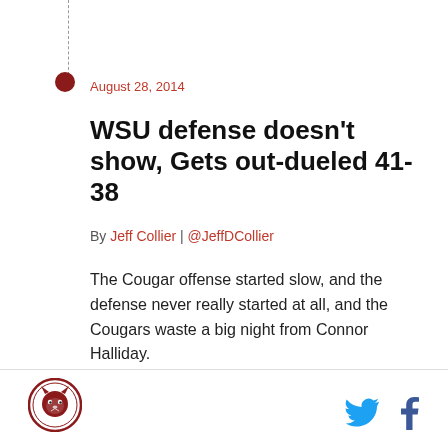August 28, 2014
WSU defense doesn't show, Gets out-dueled 41-38
By Jeff Collier | @JeffDCollier
The Cougar offense started slow, and the defense never really started at all, and the Cougars waste a big night from Connor Halliday.
WSU Cougar logo | Twitter | Facebook